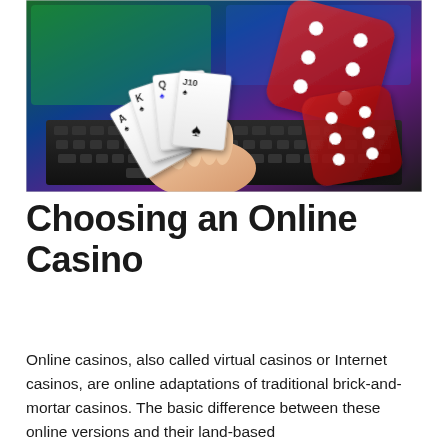[Figure (photo): A hand holding playing cards (Ace, King, Queen, Jack, Ten of spades) in front of a laptop keyboard, with two large red translucent dice tumbling in the air against a blurred colorful background.]
Choosing an Online Casino
Online casinos, also called virtual casinos or Internet casinos, are online adaptations of traditional brick-and-mortar casinos. The basic difference between these online versions and their land-based